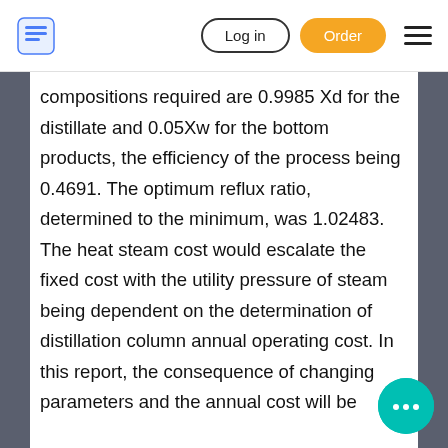Log in | Order
compositions required are 0.9985 Xd for the distillate and 0.05Xw for the bottom products, the efficiency of the process being 0.4691. The optimum reflux ratio, determined to the minimum, was 1.02483. The heat steam cost would escalate the fixed cost with the utility pressure of steam being dependent on the determination of distillation column annual operating cost. In this report, the consequence of changing parameters and the annual cost will be